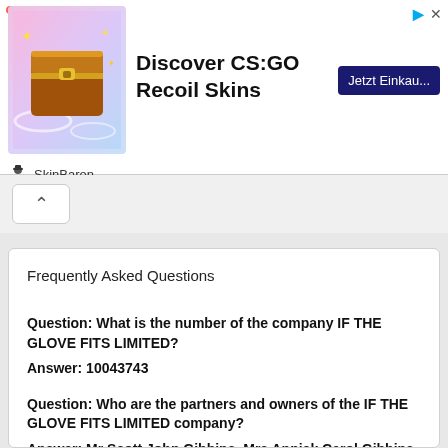[Figure (screenshot): Advertisement banner for SkinBaron CS:GO Recoil Skins with a gold chest image, bold title 'Discover CS:GO Recoil Skins', a dark blue CTA button reading 'Jetzt Einkau...', and SkinBaron branding at the bottom left.]
Frequently Asked Questions
Question: What is the number of the company IF THE GLOVE FITS LIMITED?
Answer: 10043743
Question: Who are the partners and owners of the IF THE GLOVE FITS LIMITED company?
Answer: Mr Scott John Gibbins, Mrs Annick Carol Gibbins,